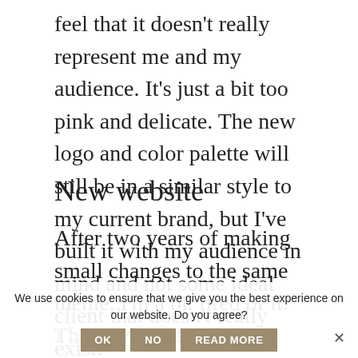feel that it doesn't really represent me and my audience. It's just a bit too pink and delicate. The new logo and color palette will still be in a similar style to my current brand, but I've built it with my audience in mind and not some ideal client that doesn't really exist.
New website
After two years of making small changes to the same theme, I'm a bit tired of it. That's why I decided to also build a new website that is modern, fun, and colorful.
I want it to be clean and easy to navigate and not scare the large part of my audience that is